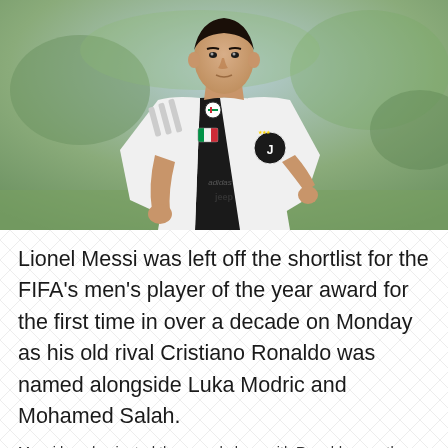[Figure (photo): Cristiano Ronaldo wearing a Juventus black and white jersey with adidas stripes, standing on a football pitch with a blurred green background]
Lionel Messi was left off the shortlist for the FIFA's men's player of the year award for the first time in over a decade on Monday as his old rival Cristiano Ronaldo was named alongside Luka Modric and Mohamed Salah.
Messi has dominated the award along with Ronaldo over the past decade, but the Barcelona star has been omitted